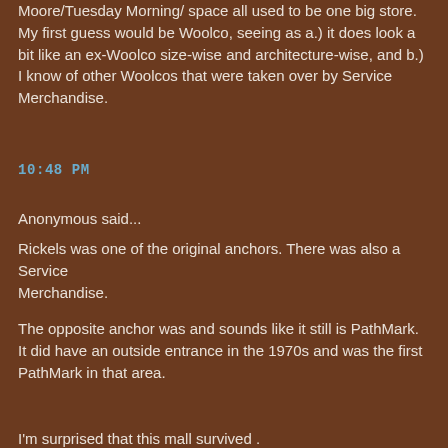Moore/Tuesday Morning/ space all used to be one big store. My first guess would be Woolco, seeing as a.) it does look a bit like an ex-Woolco size-wise and architecture-wise, and b.) I know of other Woolcos that were taken over by Service Merchandise.
10:48 PM
Anonymous said...
Rickels was one of the original anchors. There was also a Service Merchandise.
The opposite anchor was and sounds like it still is PathMark. It did have an outside entrance in the 1970s and was the first PathMark in that area.
I'm surprised that this mall survived .
11:32 PM
Anonymous said...
Sorry, just reviewed the layout. If I remember correct.